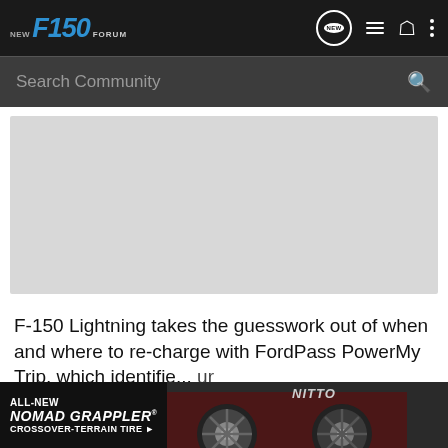NEW F150 FORUM
Search Community
[Figure (other): Gray placeholder advertisement image area]
F-150 Lightning takes the guesswork out of when and where to re-charge with FordPass PowerMy Trip, which identifie... ur journey...
[Figure (other): ALL-NEW NOMAD GRAPPLER CROSSOVER-TERRAIN TIRE advertisement banner with Nitto branding and tire/wheel imagery]